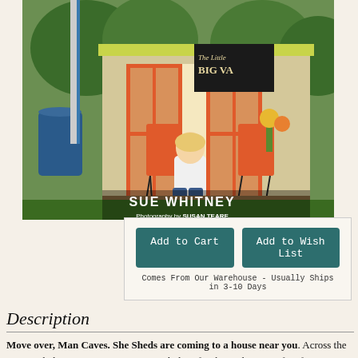[Figure (photo): Book cover photo showing a woman (Sue Whitney) sitting in front of a colorful she-shed with orange French doors, orange chairs, yellow-green trim, and a chalkboard sign reading 'The Little BIG VA...' Text overlay: 'SUE WHITNEY Photography by SUSAN TEARE']
Add to Cart
Add to Wish List
Comes From Our Warehouse - Usually Ships in 3-10 Days
Description
Move over, Man Caves. She Sheds are coming to a house near you. Across the country, ladies are carving out a special place for themselves, one free from stress and concern. And they're doing it in their own backyards by turning spaces usually reserved for old tools and greasy